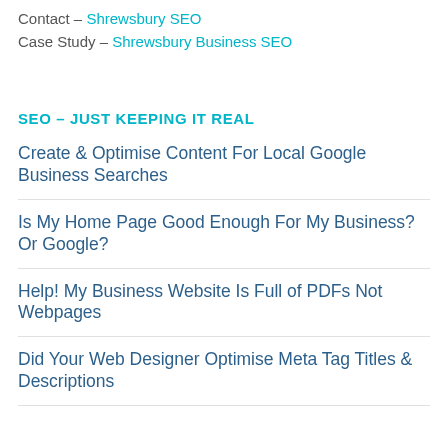Contact – Shrewsbury SEO
Case Study – Shrewsbury Business SEO
SEO – JUST KEEPING IT REAL
Create & Optimise Content For Local Google Business Searches
Is My Home Page Good Enough For My Business? Or Google?
Help! My Business Website Is Full of PDFs Not Webpages
Did Your Web Designer Optimise Meta Tag Titles & Descriptions